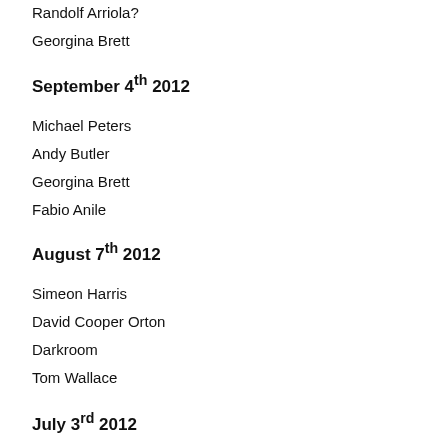Randolf Arriola?
Georgina Brett
September 4th 2012
Michael Peters
Andy Butler
Georgina Brett
Fabio Anile
August 7th 2012
Simeon Harris
David Cooper Orton
Darkroom
Tom Wallace
July 3rd 2012